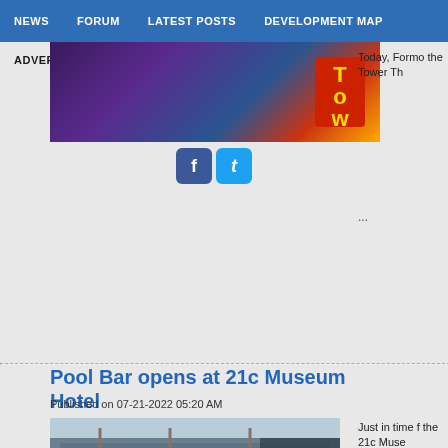NEWS  FORUM  LATEST POSTS  DEVELOPMENT MAP
ADVERTISE  TOPIC SEARCH
[Figure (photo): Banner image with colorful signage including 'Tow' text in red on a neon-lit storefront background]
[Figure (illustration): Facebook and Twitter social media icons]
Today, Formo the Tower Th
...
Pool Bar opens at 21c Museum Hotel
Published on 07-21-2022 05:20 AM
[Figure (photo): Construction or exterior photo of 21c Museum Hotel showing multi-story building with steel framing and modern architecture]
Just in time f the 21c Muse
...